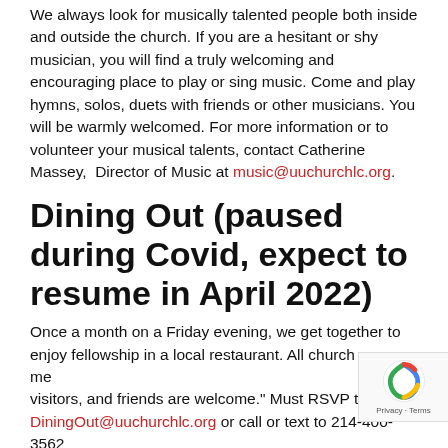We always look for musically talented people both inside and outside the church. If you are a hesitant or shy musician, you will find a truly welcoming and encouraging place to play or sing music. Come and play hymns, solos, duets with friends or other musicians. You will be warmly welcomed. For more information or to volunteer your musical talents, contact Catherine Massey, Director of Music at music@uuchurchlc.org.
Dining Out (paused during Covid, expect to resume in April 2022)
Once a month on a Friday evening, we get together to enjoy fellowship in a local restaurant. All church members, visitors, and friends are welcome." Must RSVP to DiningOut@uuchurchlc.org or call or text to 214-400-3562